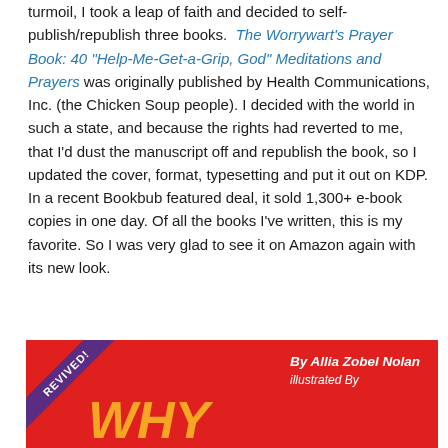turmoil, I took a leap of faith and decided to self-publish/republish three books. The Worrywart's Prayer Book: 40 "Help-Me-Get-a-Grip, God" Meditations and Prayers was originally published by Health Communications, Inc. (the Chicken Soup people). I decided with the world in such a state, and because the rights had reverted to me, that I'd dust the manuscript off and republish the book, so I updated the cover, format, typesetting and put it out on KDP. In a recent Bookbub featured deal, it sold 1,300+ e-book copies in one day. Of all the books I've written, this is my favorite. So I was very glad to see it on Amazon again with its new look.
[Figure (illustration): Book cover image with red background. A purple diagonal banner in the top-left corner reads 'REVIVED!' in white bold text. Large orange italic text spells 'WHY' at the bottom-left. On the right side, white handwritten-style text reads 'By Allia Zobel Nolan' and below it 'illustrated by'.]